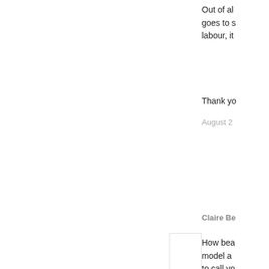Out of al goes to s labour, it
Thank yo
August 2
Claire Be
How bea model a to call yo
August 2
Jessica says
what a b
August 2
Travis T